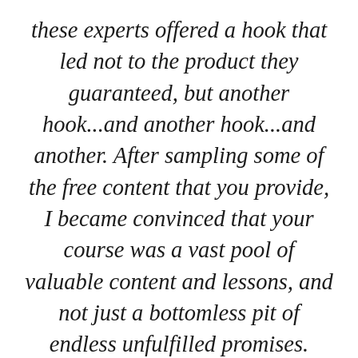these experts offered a hook that led not to the product they guaranteed, but another hook...and another hook...and another. After sampling some of the free content that you provide, I became convinced that your course was a vast pool of valuable content and lessons, and not just a bottomless pit of endless unfulfilled promises. Thank you for exhibiting the values of "truthful" and "elegant!" I am very excited to begin studying with you. I've already read through some of the materials on Write With Influence, and I was pleased to see that my hopes were not misplaced. In just a half hour browsing through some of the resources, I